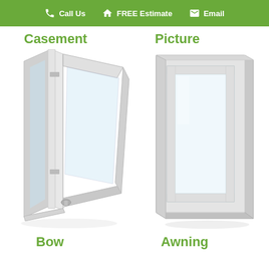Call Us  FREE Estimate  Email
Casement
Picture
[Figure (illustration): Open casement window shown from a 3D perspective angle, white frame, glass panel open outward on hinges]
[Figure (illustration): Picture window, white frame, closed fixed glass panel, shown from a slight 3D angle]
Bow
Awning